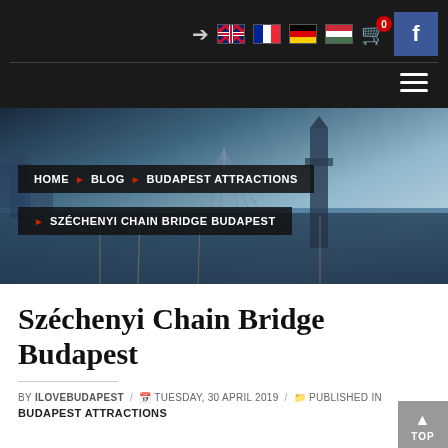Navigation bar with language flags (UK, France, Germany, Hungary), cart icon with badge 0, Facebook button, hamburger menu
[Figure (photo): Aerial photo of Budapest with the Chain Bridge over the Danube River, city lights reflecting on water at dusk]
HOME ▶ BLOG ▶ BUDAPEST ATTRACTIONS
▶ SZÉCHENYI CHAIN BRIDGE BUDAPEST
Széchenyi Chain Bridge Budapest
BY ILOVEBUDAPEST / TUESDAY, 30 APRIL 2019 / PUBLISHED IN
BUDAPEST ATTRACTIONS